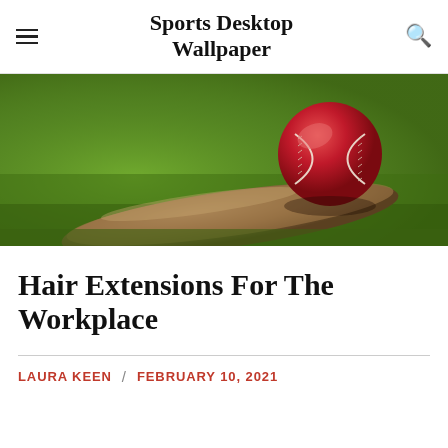Sports Desktop Wallpaper
[Figure (photo): Close-up photo of a red cricket ball resting on a cricket bat on green grass]
Hair Extensions For The Workplace
LAURA KEEN / FEBRUARY 10, 2021